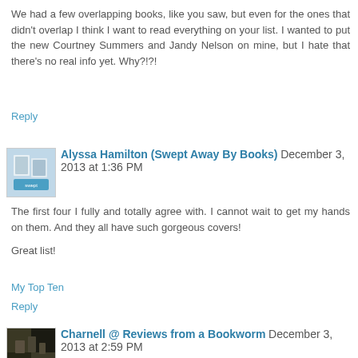We had a few overlapping books, like you saw, but even for the ones that didn't overlap I think I want to read everything on your list. I wanted to put the new Courtney Summers and Jandy Nelson on mine, but I hate that there's no real info yet. Why?!?!
Reply
Alyssa Hamilton (Swept Away By Books) December 3, 2013 at 1:36 PM
The first four I fully and totally agree with. I cannot wait to get my hands on them. And they all have such gorgeous covers!

Great list!
My Top Ten
Reply
Charnell @ Reviews from a Bookworm December 3, 2013 at 2:59 PM